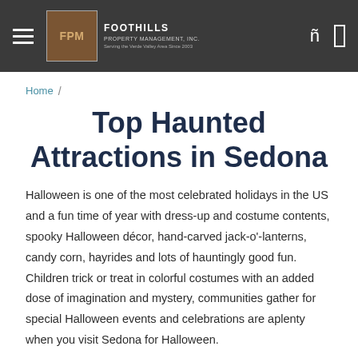Foothills Property Management, Inc.
Home /
Top Haunted Attractions in Sedona
Halloween is one of the most celebrated holidays in the US and a fun time of year with dress-up and costume contents, spooky Halloween décor, hand-carved jack-o'-lanterns, candy corn, hayrides and lots of hauntingly good fun. Children trick or treat in colorful costumes with an added dose of imagination and mystery, communities gather for special Halloween events and celebrations are aplenty when you visit Sedona for Halloween.